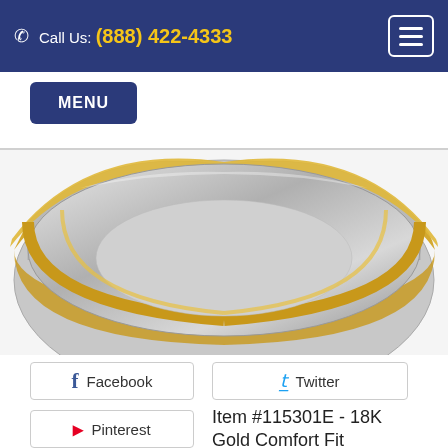Call Us: (888) 422-4333
MENU
[Figure (photo): Close-up photo of a two-tone wedding band ring with silver center and gold edges, shown at an angle on white background.]
Facebook
Twitter
Pinterest
Item #115301E - 18K Gold Comfort Fit